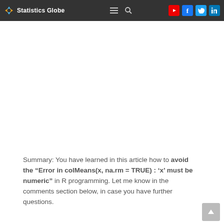Statistics Globe
Summary: You have learned in this article how to avoid the “Error in colMeans(x, na.rm = TRUE) : ‘x’ must be numeric” in R programming. Let me know in the comments section below, in case you have further questions.